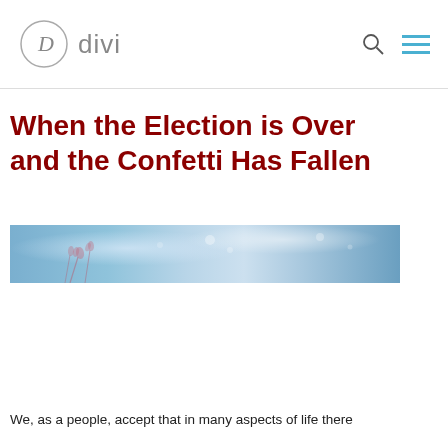divi
When the Election is Over and the Confetti Has Fallen
[Figure (photo): A wide banner photo showing a blurred blue sky with soft pink flower silhouettes and bokeh light effects]
We, as a people, accept that in many aspects of life there